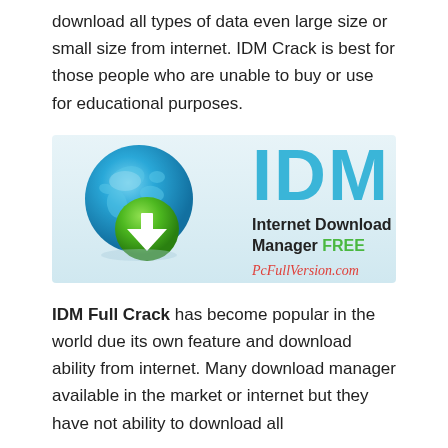download all types of data even large size or small size from internet. IDM Crack is best for those people who are unable to buy or use for educational purposes.
[Figure (logo): IDM Internet Download Manager FREE logo — globe with green download arrow icon on left, large teal 'IDM' text and subtitle 'Internet Download Manager FREE' with PcFullVersion.com URL on right, on a light blue gradient background]
IDM Full Crack has become popular in the world due its own feature and download ability from internet. Many download manager available in the market or internet but they have not ability to download all